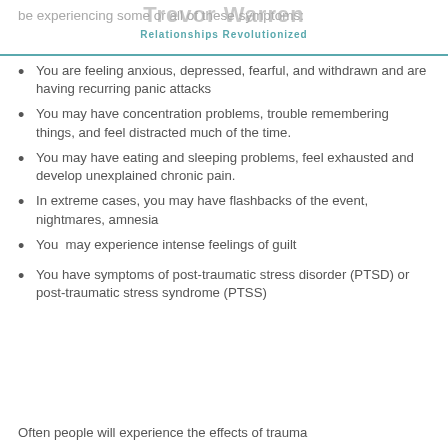Trevor Warren
Relationships Revolutionized
be experiencing some or all of these symptoms:
You are feeling anxious, depressed, fearful, and withdrawn and are having recurring panic attacks
You may have concentration problems, trouble remembering things, and feel distracted much of the time.
You may have eating and sleeping problems, feel exhausted and develop unexplained chronic pain.
In extreme cases, you may have flashbacks of the event, nightmares, amnesia
You  may experience intense feelings of guilt
You have symptoms of post-traumatic stress disorder (PTSD) or post-traumatic stress syndrome (PTSS)
Often people will experience the effects of trauma